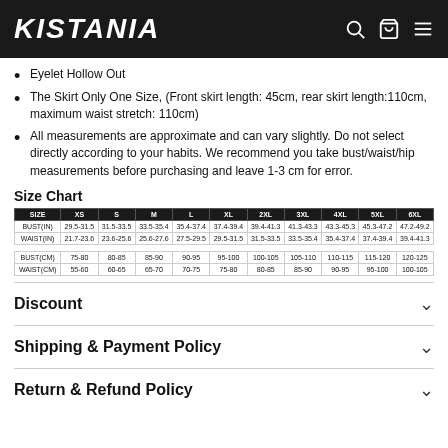KISTANIA
Eyelet Hollow Out
The Skirt Only One Size, (Front skirt length: 45cm, rear skirt length:110cm, maximum waist stretch: 110cm)
All measurements are approximate and can vary slightly. Do not select directly according to your habits. We recommend you take bust/waist/hip measurements before purchasing and leave 1-3 cm for error.
Size Chart
| SIZE | XS | S | M | L | XL | 2XL | 3XL | 4XL | 5XL | 6XL |
| --- | --- | --- | --- | --- | --- | --- | --- | --- | --- | --- |
| BUST(IN) | 29.5-31.5 | 31.5-33.5 | 33.5-35.4 | 35.4-37.4 | 37.4-39.4 | 39.4-41.3 | 41.3-43.3 | 43.3-45.3 | 45.3-47.2 | 47.2-49.2 |
| WAIST(IN) | 21.7-23.6 | 23.6-25.6 | 25.6-27.6 | 27.5-29.5 | 29.5-31.5 | 31.5-33.5 | 33.5-35.4 | 35.4-37.4 | 37.4-39.4 | 39.4-41.3 |
|  |  |  |  |  |  |  |  |  |  |  |
| BUST(CM) | 75-80 | 80-85 | 85-90 | 90-95 | 95-100 | 100-105 | 105-110 | 110-115 | 115-120 | 120-125 |
| WAIST(CM) | 55-60 | 60-65 | 65-70 | 70-75 | 75-80 | 80-85 | 85-90 | 90-95 | 95-100 | 100-105 |
Discount
Shipping & Payment Policy
Return & Refund Policy